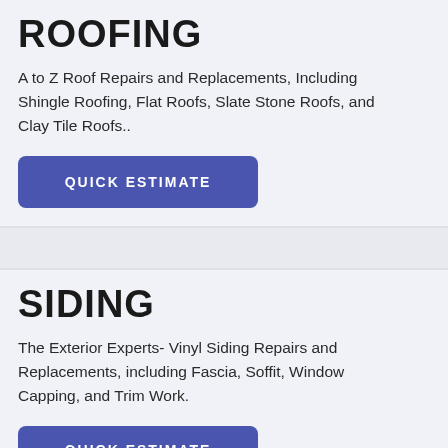ROOFING
A to Z Roof Repairs and Replacements, Including Shingle Roofing, Flat Roofs, Slate Stone Roofs, and Clay Tile Roofs..
QUICK ESTIMATE
SIDING
The Exterior Experts- Vinyl Siding Repairs and Replacements, including Fascia, Soffit, Window Capping, and Trim Work.
QUICK ESTIMATE